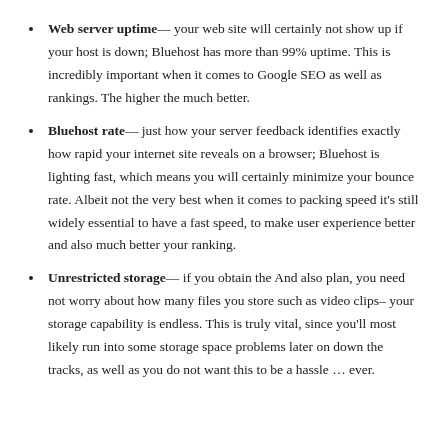Web server uptime— your web site will certainly not show up if your host is down; Bluehost has more than 99% uptime. This is incredibly important when it comes to Google SEO as well as rankings. The higher the much better.
Bluehost rate— just how your server feedback identifies exactly how rapid your internet site reveals on a browser; Bluehost is lighting fast, which means you will certainly minimize your bounce rate. Albeit not the very best when it comes to packing speed it's still widely essential to have a fast speed, to make user experience better and also much better your ranking.
Unrestricted storage— if you obtain the And also plan, you need not worry about how many files you store such as video clips– your storage capability is endless. This is truly vital, since you'll most likely run into some storage space problems later on down the tracks, as well as you do not want this to be a hassle … ever.